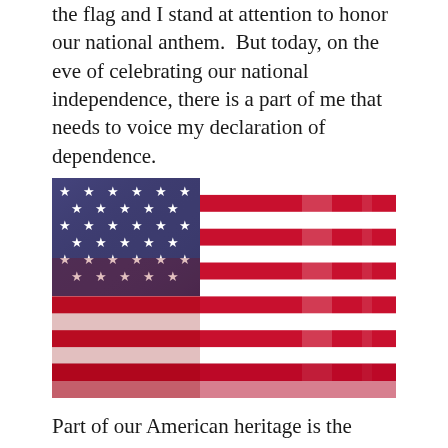the flag and I stand at attention to honor our national anthem.  But today, on the eve of celebrating our national independence, there is a part of me that needs to voice my declaration of dependence.
[Figure (photo): A close-up photograph of an American flag waving, showing the blue canton with white stars on the left and red and white stripes on the right, fabric folds visible.]
Part of our American heritage is the